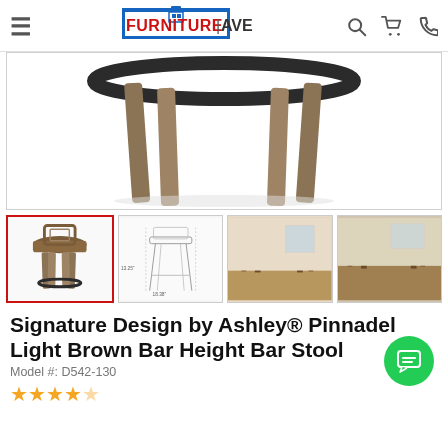FURNITURE AVE — navigation bar with hamburger, logo, search, cart, phone icons
[Figure (photo): Close-up bottom/leg view of a bar stool with dark metal footrest ring and brown wooden legs on white background]
[Figure (photo): Thumbnail 1: Full view of bar stool with brown seat and wooden legs (selected, red border)]
[Figure (engineering-diagram): Thumbnail 2: Technical dimension diagram of the bar stool]
[Figure (photo): Thumbnail 3: Bar stools in a room setting]
[Figure (photo): Thumbnail 4: Bar stools in another room setting (partially visible)]
Signature Design by Ashley® Pinnadel Light Brown Bar Height Bar Stool
Model #: D542-130
Star rating row (partially shown)